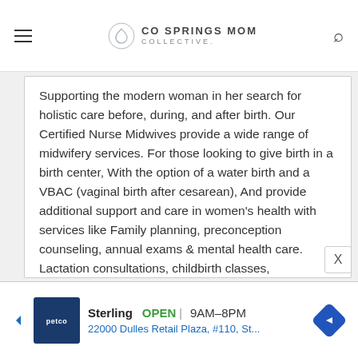CO SPRINGS MOM COLLECTIVE.
Supporting the modern woman in her search for holistic care before, during, and after birth. Our Certified Nurse Midwives provide a wide range of midwifery services. For those looking to give birth in a birth center, With the option of a water birth and a VBAC (vaginal birth after cesarean), And provide additional support and care in women's health with services like Family planning, preconception counseling, annual exams & mental health care. Lactation consultations, childbirth classes, chiropractic care, & massage therapy. Round out your care making this your best birth & women's health care experience yet!
[Figure (other): Advertisement banner for Petco Sterling location. Shows Petco logo, store name Sterling, OPEN status, hours 9AM-8PM, address 22000 Dulles Retail Plaza, #110, St...]